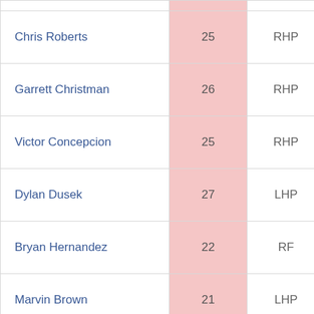| Name | Age | Position | Team |
| --- | --- | --- | --- |
| Chris Roberts | 25 | RHP | Arizo (Rook |
| Garrett Christman | 26 | RHP | Arizo (Rook |
| Victor Concepcion | 25 | RHP | Arizo (Rook |
| Dylan Dusek | 27 | LHP | Arizo (Rook |
| Bryan Hernandez | 22 | RF | Arizo (Rook |
| Marvin Brown | 21 | LHP | Arizo (Rook |